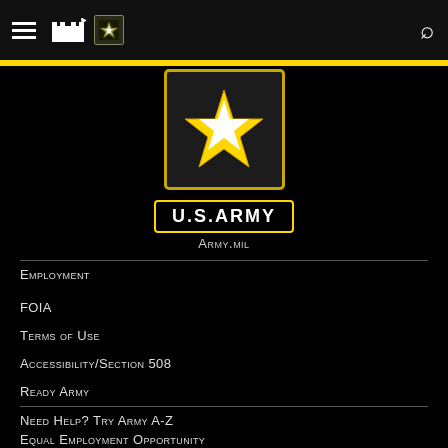Navigation bar with hamburger menu, fort/castle icon, U.S. Army logo, and search icon
[Figure (logo): U.S. Army star logo — black square with gold-outlined five-pointed star (white fill) on dark background, with 'U.S.ARMY' text in a gold-bordered box below]
Army.mil
Employment
FOIA
Terms of Use
Accessibility/Section 508
Ready Army
Need Help? Try Army A-Z
Equal Employment Opportunity